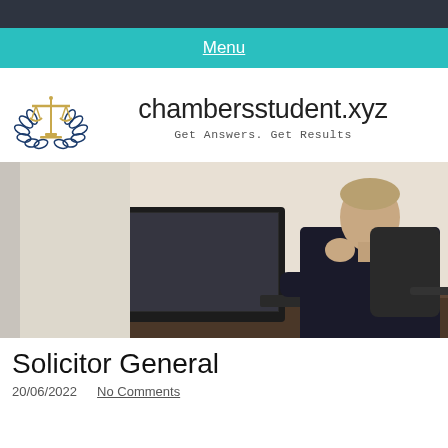Menu
[Figure (logo): Justice scales with laurel wreath logo in gold and navy blue]
chambersstudent.xyz
Get Answers. Get Results
[Figure (photo): Young man in dark suit sitting at a desk working at a computer monitor, hand on chin in a thoughtful pose]
Solicitor General
20/06/2022   No Comments